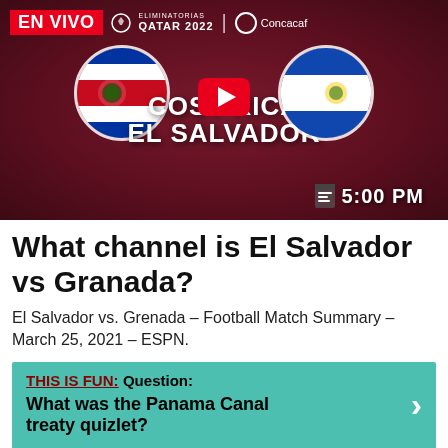[Figure (screenshot): YouTube thumbnail for Costa Rica vs El Salvador – Eliminatorias Qatar 2022 Concacaf match at 5:00 PM, showing both teams' flags and a YouTube play button overlay, with EN VIVO banner.]
What channel is El Salvador vs Granada?
El Salvador vs. Grenada – Football Match Summary – March 25, 2021 – ESPN.
THIS IS FUN: Question: What was the Panama Canal treaty quizlet?